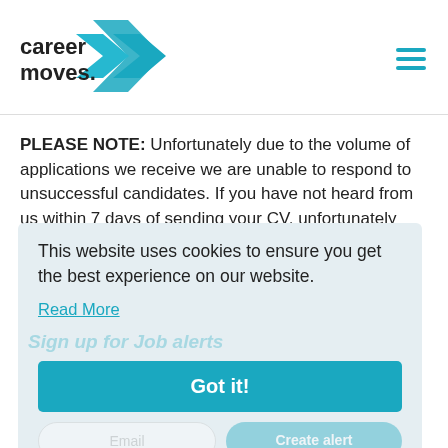[Figure (logo): Career Moves logo with teal arrow graphic and bold sans-serif text]
PLEASE NOTE: Unfortunately due to the volume of applications we receive we are unable to respond to unsuccessful candidates. If you have not heard from us within 7 days of sending your CV, unfortunately you have not been selected for the position.
This website uses cookies to ensure you get the best experience on our website.
Read More
Sign up for Job alerts
Got it!
Email
Create alert